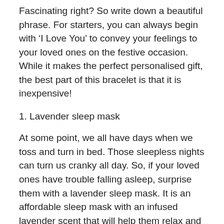Fascinating right? So write down a beautiful phrase. For starters, you can always begin with ‘I Love You’ to convey your feelings to your loved ones on the festive occasion. While it makes the perfect personalised gift, the best part of this bracelet is that it is inexpensive!
1. Lavender sleep mask
At some point, we all have days when we toss and turn in bed. Those sleepless nights can turn us cranky all day. So, if your loved ones have trouble falling asleep, surprise them with a lavender sleep mask. It is an affordable sleep mask with an infused lavender scent that will help them relax and get rest at night.
1. Ice roller